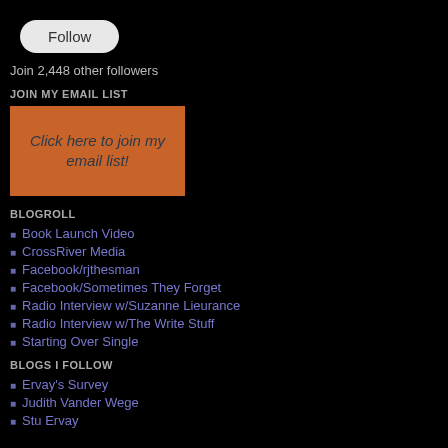Follow
Join 2,448 other followers
JOIN MY EMAIL LIST
[Figure (other): Orange button with text: Click here to join my email list!]
BLOGROLL
Book Launch Video
CrossRiver Media
Facebook/rjthesman
Facebook/Sometimes They Forget
Radio Interview w/Suzanne Lieurance
Radio Interview w/The Write Stuff
Starting Over Single
BLOGS I FOLLOW
Ervay's Survey
Judith Vander Wege
Stu Ervay